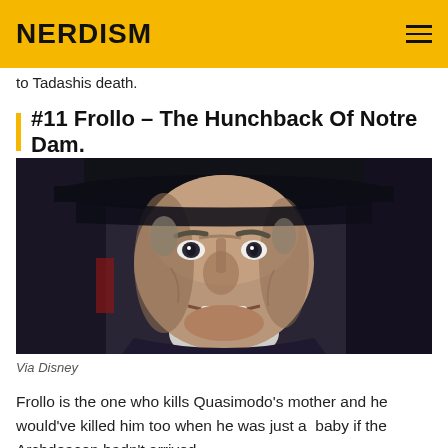NERDISM
to Tadashis death.
#11 Frollo – The Hunchback Of Notre Dam.
[Figure (photo): Animated villain Frollo from The Hunchback of Notre Dame, showing an angry grimacing expression, wearing a dark hat, close-up face shot.]
Via Disney
Frollo is the one who kills Quasimodo's mother and he would've killed him too when he was just a  baby if the Archdeacon hadn't arrived.